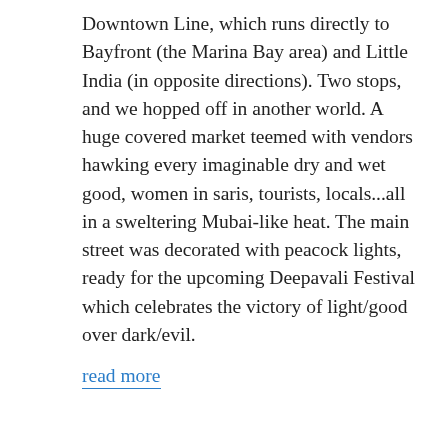Downtown Line, which runs directly to Bayfront (the Marina Bay area) and Little India (in opposite directions). Two stops, and we hopped off in another world. A huge covered market teemed with vendors hawking every imaginable dry and wet good, women in saris, tourists, locals...all in a sweltering Mubai-like heat. The main street was decorated with peacock lights, ready for the upcoming Deepavali Festival which celebrates the victory of light/good over dark/evil.
read more
October 25, 2016 / ASIA, Beer Posts, Travelogues / Leave a comment